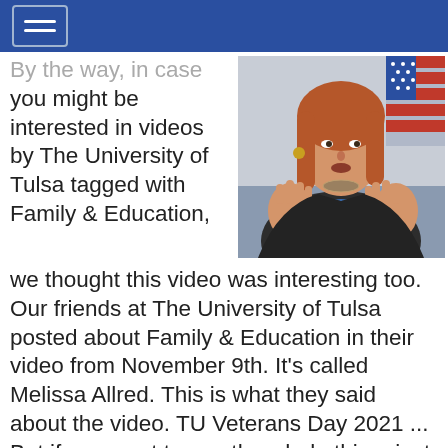By the way, in case you might be interested in videos by The University of Tulsa tagged with Family & Education, we thought this video was interesting too. Our friends at The University of Tulsa posted about Family & Education in their video from November 9th. It's called Melissa Allred. This is what they said about the video. TU Veterans Day 2021 ... But if you want to see the whole thing, just go to this page Melissa Allred. We're pretty sure you'll like this Family & Education
[Figure (photo): A woman with long reddish-brown hair gesturing with both hands raised, speaking, with an American flag visible in the background.]